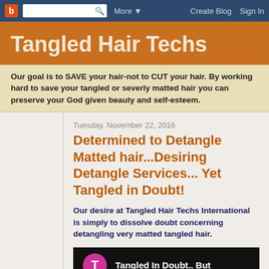Blogger navigation bar with logo, search, More, Create Blog, Sign In
Tangled Hair Techs
Our goal is to SAVE your hair-not to CUT your hair. By working hard to save your tangled or severly matted hair you can preserve your God given beauty and self-esteem.
Tuesday, November 22, 2016
Determined to Detangle Matted hair...Desiring Detangle Services... Yet Tangled in Doubt!
Our desire at Tangled Hair Techs International  is simply to dissolve doubt concerning detangling very matted tangled hair.
[Figure (screenshot): Video thumbnail with black background, pink circular avatar with letter T, and text 'Tangled In Doubt.. But']